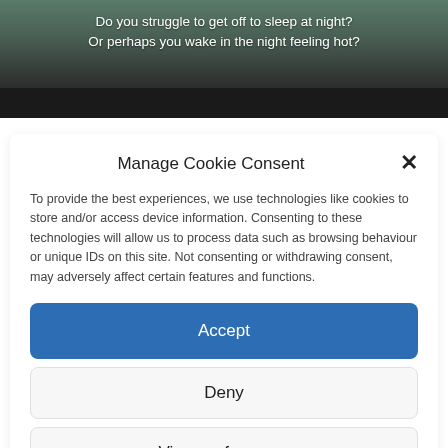[Figure (screenshot): Top banner showing dark-themed video/image with text overlay: 'Do you struggle to get off to sleep at night? Or perhaps you wake in the night feeling hot?']
Manage Cookie Consent
To provide the best experiences, we use technologies like cookies to store and/or access device information. Consenting to these technologies will allow us to process data such as browsing behaviour or unique IDs on this site. Not consenting or withdrawing consent, may adversely affect certain features and functions.
Accept
Deny
View preferences
Cookie Policy   Privacy Policy